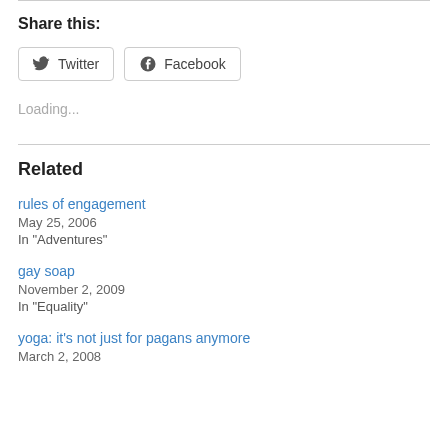Share this:
[Figure (other): Twitter and Facebook share buttons]
Loading...
Related
rules of engagement
May 25, 2006
In "Adventures"
gay soap
November 2, 2009
In "Equality"
yoga: it's not just for pagans anymore
March 2, 2008